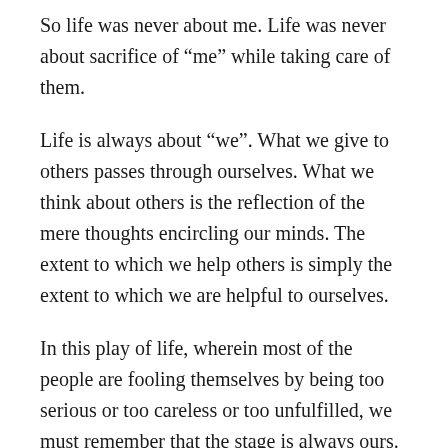So life was never about me. Life was never about sacrifice of “me” while taking care of them.
Life is always about “we”. What we give to others passes through ourselves. What we think about others is the reflection of the mere thoughts encircling our minds. The extent to which we help others is simply the extent to which we are helpful to ourselves.
In this play of life, wherein most of the people are fooling themselves by being too serious or too careless or too unfulfilled, we must remember that the stage is always ours. We must, happily and lovingly show up to express our deepest and best potential, so that the world is a fabulous place to be in.
Interestingly, when we show up to life and enjoy every